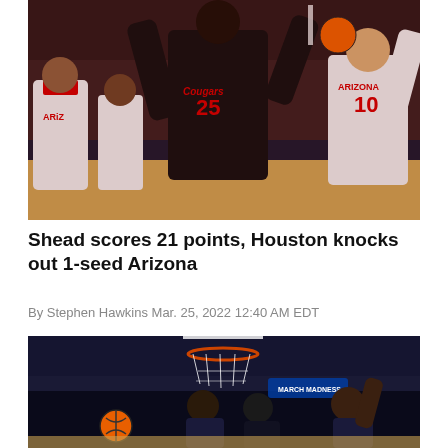[Figure (photo): Basketball player wearing Houston Cougars black jersey number 25 going up for a layup against Arizona Wildcats defenders in white jerseys including player number 10, in an NCAA tournament game setting]
Shead scores 21 points, Houston knocks out 1-seed Arizona
By Stephen Hawkins Mar. 25, 2022 12:40 AM EDT
[Figure (photo): Basketball players competing near the basket during an NCAA tournament game, with one player attempting a shot while others defend, orange basketball visible, arena crowd in background]